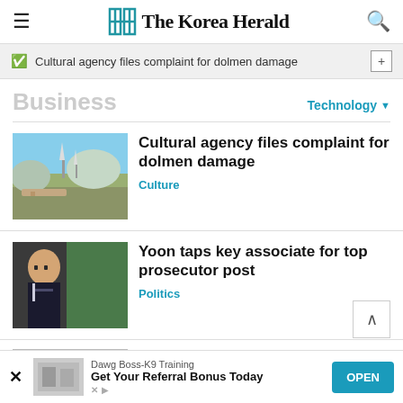The Korea Herald
Cultural agency files complaint for dolmen damage
Business
Technology
[Figure (photo): Open field with construction site, wind turbines and mountains in background]
Cultural agency files complaint for dolmen damage
Culture
[Figure (photo): Man in suit and glasses standing near green plants]
Yoon taps key associate for top prosecutor post
Politics
[Figure (photo): Partial view of people]
South Korea recommends
Dawg Boss-K9 Training
Get Your Referral Bonus Today
OPEN